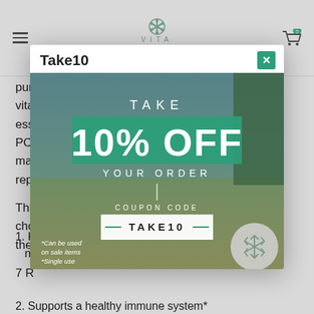VITA SOUL
punch". So not only do you get all the benefits of vitamin C, but also the essential PC ma rep
[Figure (screenshot): Modal dialog showing VITA SOUL coupon: Take10 - TAKE 10% OFF YOUR ORDER, COUPON CODE TAKE10. *Can be used on sale items *Single use. Background photo of two women in a field with arms raised.]
1. K n
2. Supports a healthy immune system*